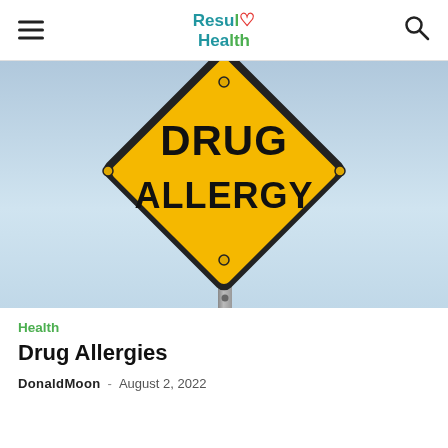Resul Health (logo with hamburger menu and search icon)
[Figure (illustration): Yellow diamond-shaped road sign reading 'DRUG ALLERGY' in bold black text, with a metal post, against a light blue gradient background.]
Health
Drug Allergies
DonaldMoon - August 2, 2022